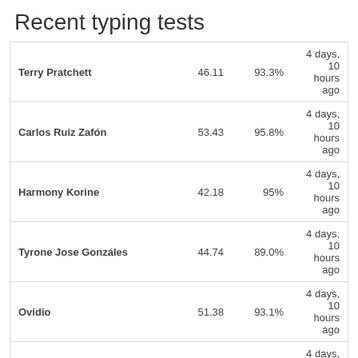Recent typing tests
| Name | Score | Accuracy | When |
| --- | --- | --- | --- |
| Terry Pratchett | 46.11 | 93.3% | 4 days, 10 hours ago |
| Carlos Ruiz Zafón | 53.43 | 95.8% | 4 days, 10 hours ago |
| Harmony Korine | 42.18 | 95% | 4 days, 10 hours ago |
| Tyrone Jose Gonzáles | 44.74 | 89.0% | 4 days, 10 hours ago |
| Ovidio | 51.38 | 93.1% | 4 days, 10 hours ago |
| Brandon Sanderson | 54.10 | 96.7% | 4 days, 10 hours ago |
| Laura Esquivel | 52.52 | 97.0% | 4 days, 10 hours ago |
| Jack Canfield | 48.59 | 90.8% | 1 week, 2 days ago |
| Wendell Mayes | 47.65 | 94.7% | 1 week, 2 days ago |
| Cioran | 52.50 | 97.5% | 1 week, 2 days ago |
Last login: 1 month, 2 weeks ago
Date joined: 8 years ago